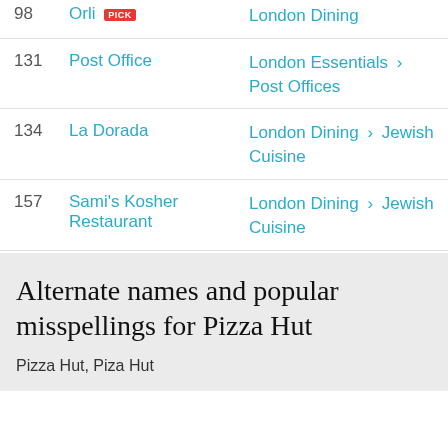| # | Name | Category |
| --- | --- | --- |
| 98 | Orli [PICK] | London Dining |
| 131 | Post Office | London Essentials > Post Offices |
| 134 | La Dorada | London Dining > Jewish Cuisine |
| 157 | Sami's Kosher Restaurant | London Dining > Jewish Cuisine |
Alternate names and popular misspellings for Pizza Hut
Pizza Hut, Piza Hut